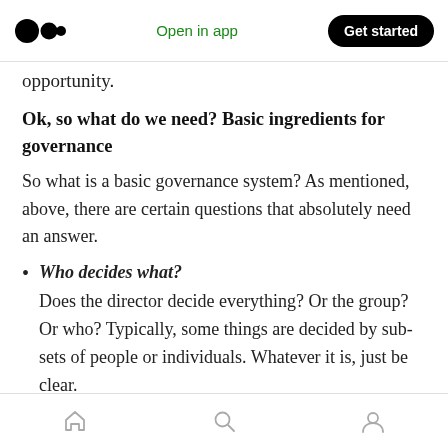Open in app | Get started
opportunity.
Ok, so what do we need? Basic ingredients for governance
So what is a basic governance system? As mentioned, above, there are certain questions that absolutely need an answer.
Who decides what? Does the director decide everything? Or the group? Or who? Typically, some things are decided by sub-sets of people or individuals. Whatever it is, just be clear.